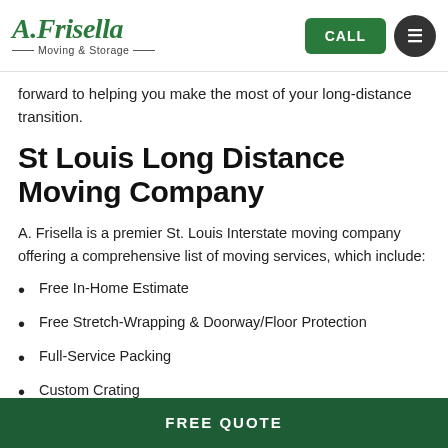[Figure (logo): A. Frisella Moving & Storage logo with green italic serif text and decorative lines]
forward to helping you make the most of your long-distance transition.
St Louis Long Distance Moving Company
A. Frisella is a premier St. Louis Interstate moving company offering a comprehensive list of moving services, which include:
Free In-Home Estimate
Free Stretch-Wrapping & Doorway/Floor Protection
Full-Service Packing
Custom Crating
FREE QUOTE